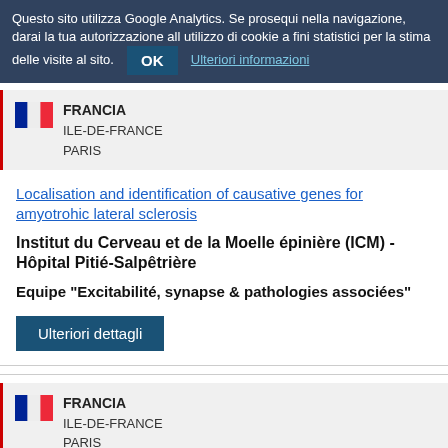Questo sito utilizza Google Analytics. Se prosequi nella navigazione, darai la tua autorizzazione all utilizzo di cookie a fini statistici per la stima delle visite al sito.  OK  Ulteriori informazioni
[Figure (logo): French flag icon with FRANCIA ILE-DE-FRANCE PARIS text]
Localisation and identification of causative genes for amyotrohic lateral sclerosis
Institut du Cerveau et de la Moelle épinière (ICM) - Hôpital Pitié-Salpêtrière
Equipe "Excitabilité, synapse & pathologies associées"
Ulteriori dettagli
[Figure (logo): French flag icon with FRANCIA ILE-DE-FRANCE PARIS text]
Amyotrophic Lateral Sclerosis gene therapy
La mutation...